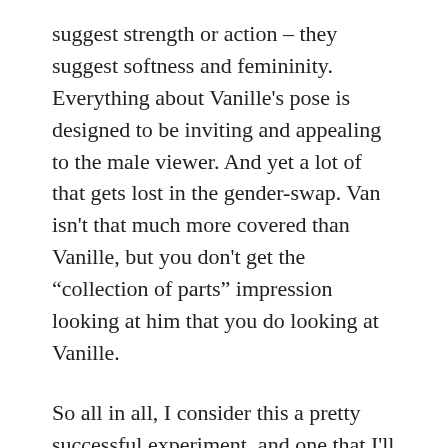suggest strength or action – they suggest softness and femininity. Everything about Vanille's pose is designed to be inviting and appealing to the male viewer. And yet a lot of that gets lost in the gender-swap. Van isn't that much more covered than Vanille, but you don't get the “collection of parts” impression looking at him that you do looking at Vanille.
So all in all, I consider this a pretty successful experiment, and one that I'll definitely repeat. My only regret in that trying to go less extreme than the photoshopped comic covers, I think I went a little too far. Next time I'll pick a character and pose that are a little more obviously sexual and see what happens.